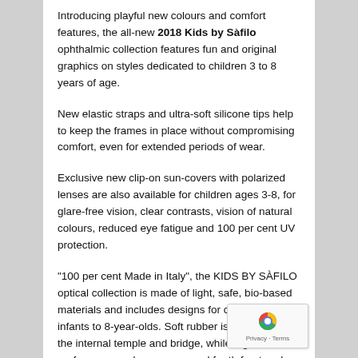Introducing playful new colours and comfort features, the all-new 2018 Kids by Sàfilo ophthalmic collection features fun and original graphics on styles dedicated to children 3 to 8 years of age.
New elastic straps and ultra-soft silicone tips help to keep the frames in place without compromising comfort, even for extended periods of wear.
Exclusive new clip-on sun-covers with polarized lenses are also available for children ages 3-8, for glare-free vision, clear contrasts, vision of natural colours, reduced eye fatigue and 100 per cent UV protection.
“100 per cent Made in Italy”, the KIDS BY SÀFILO optical collection is made of light, safe, bio-based materials and includes designs for children from infants to 8-year-olds. Soft rubber is moulded over the internal temple and bridge, while high-performance polymers are used for the front and temples. These biocompatible, hypoallergenic, non-toxic and washable materials guarantee safety.